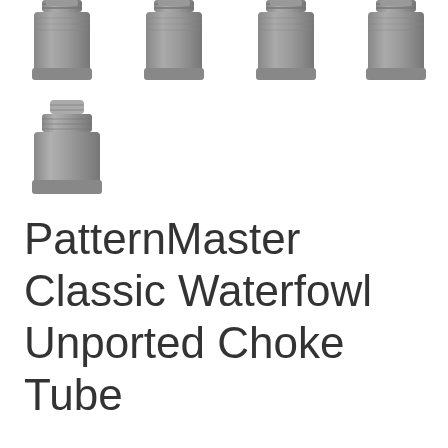[Figure (photo): Five gray metallic choke tubes arranged in two rows: four in the top row and one in the second row on the left side.]
PatternMaster Classic Waterfowl Unported Choke Tube
Free Shipping!